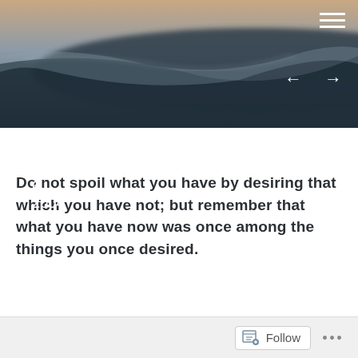[Figure (photo): Blurred overhead photo of ocean waves on a dark sandy beach, used as blog header background image]
Toasty
April 6, 2004
Do not spoil what you have by desiring that which you have not; but remember that what you have now was once among the things you once desired.
A passage i really liked in Mere Christianity…
Follow  •••